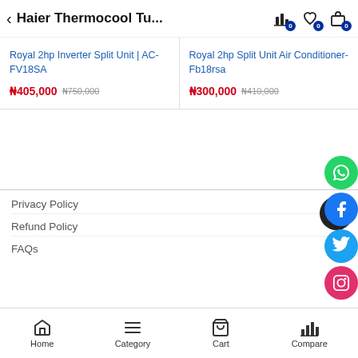Haier Thermocool Tu...
Royal 2hp Inverter Split Unit | AC- FV18SA
₦405,000 ₦750,000
Royal 2hp Split Unit Air Conditioner- Fb18rsa
₦300,000 ₦410,000
Privacy Policy
Refund Policy
FAQs
Home  Category  Cart  Compare